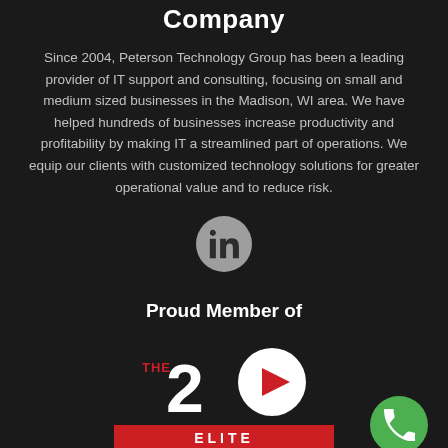Company
Since 2004, Peterson Technology Group has been a leading provider of IT support and consulting, focusing on small and medium sized businesses in the Madison, WI area. We have helped hundreds of businesses increase productivity and profitability by making IT a streamlined part of operations. We equip our clients with customized technology solutions for greater operational value and to reduce risk.
[Figure (logo): LinkedIn social media icon — grey circle with 'in' text]
Proud Member of
[Figure (logo): The 20 Elite logo — red and white logo with 'THE 20 ELITE' text on a red bar]
[Figure (other): Green circle phone call button in the bottom right corner]